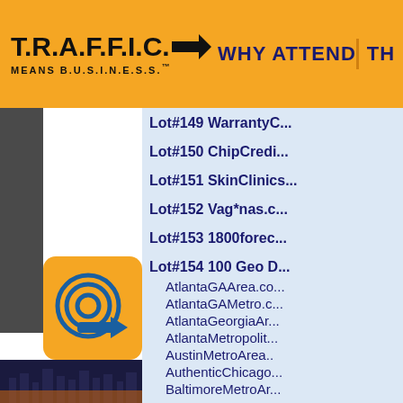T.R.A.F.F.I.C. MEANS B.U.S.I.N.E.S.S.™   WHY ATTEND   TH...
Lot#149 WarrantyC...
Lot#150 ChipCredi...
Lot#151 SkinClinics...
Lot#152 Vag*nas.c...
Lot#153 1800forec...
Lot#154 100 Geo D... AtlantaGAArea.co... AtlantaGAMetro.c... AtlantaGeorgiaAr... AtlantaMetropolit... AustinMetroArea... AuthenticChicago... BaltimoreMetroAr...
[Figure (logo): TRAFFIC MEANS BUSINESS logo with arrow and orange icon with target/arrow symbol]